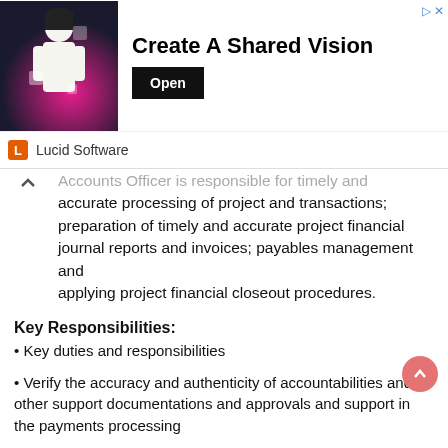[Figure (screenshot): Advertisement banner for Lucid Software — 'Create A Shared Vision' with Open button and Lucid Software branding]
Accounts Officer is responsible for timely and accurate processing of project and transactions; preparation of timely and accurate project financial journal reports and invoices; payables management and applying project financial closeout procedures.
Key Responsibilities:
• Key duties and responsibilities
• Verify the accuracy and authenticity of accountabilities and other support documentations and approvals and support in the payments processing
• Prepare or review monthly journals analyzing financial information used, general ledger accounts, cost centres and project codes for posting in NAV Microsoft Dynamics.
• Review accounting documents to ensure accuracy of